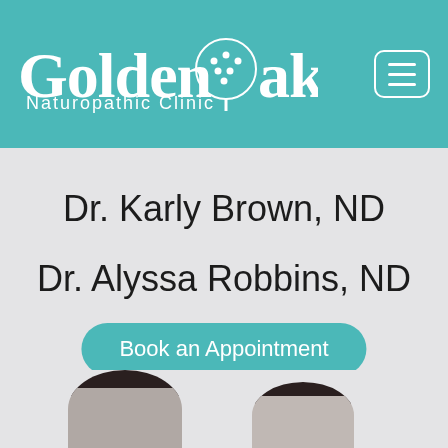[Figure (logo): Golden Oak Naturopathic Clinic logo with teal header background and hamburger menu icon]
Dr. Karly Brown, ND
Dr. Alyssa Robbins, ND
Book an Appointment
[Figure (photo): Two female doctors with dark hair, cropped from the shoulders up, shown at the bottom of the page]